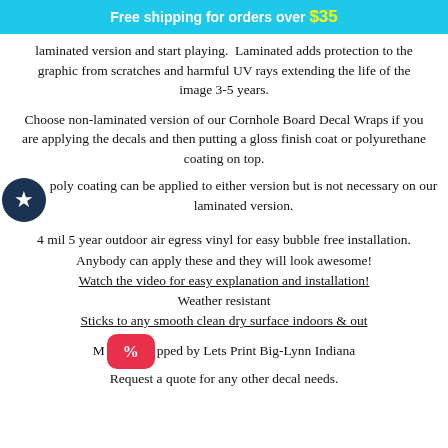Free shipping for orders over $35
laminated version and start playing.  Laminated adds protection to the graphic from scratches and harmful UV rays extending the life of the image 3-5 years.
Choose non-laminated version of our Cornhole Board Decal Wraps if you are applying the decals and then putting a gloss finish coat or polyurethane coating on top.
poly coating can be applied to either version but is not necessary on our laminated version.
4 mil 5 year outdoor air egress vinyl for easy bubble free installation.
Anybody can apply these and they will look awesome!
Watch the video for easy explanation and installation!
Weather resistant
Sticks to any smooth clean dry surface indoors & out
Made and shipped by Lets Print Big-Lynn Indiana
Request a quote for any other decal needs.